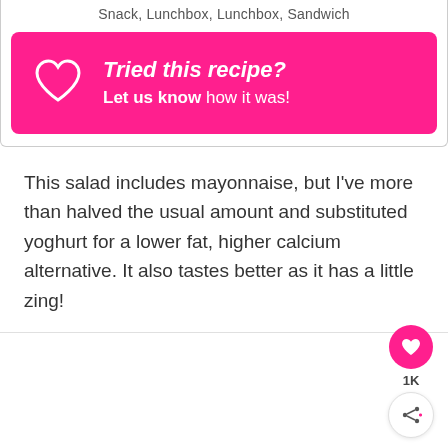Snack, Lunchbox, Lunchbox, Sandwich
[Figure (infographic): Hot pink banner with a heart outline icon on the left and bold white text reading 'Tried this recipe?' and 'Let us know how it was!']
This salad includes mayonnaise, but I've more than halved the usual amount and substituted yoghurt for a lower fat, higher calcium alternative. It also tastes better as it has a little zing!
[Figure (infographic): Bottom section with a floating pink heart button showing a heart icon, a count of 1K below it, and a share icon button.]